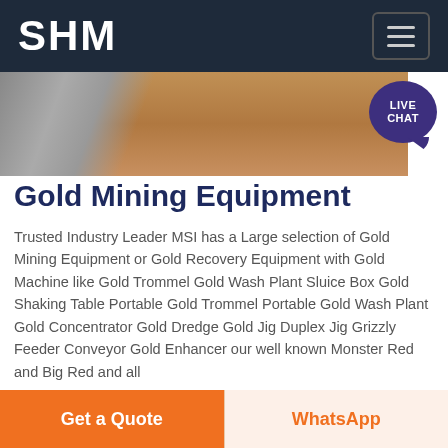SHM
[Figure (photo): Construction or mining site photo showing excavated ground with machinery and scaffolding in background]
Gold Mining Equipment
Trusted Industry Leader MSI has a Large selection of Gold Mining Equipment or Gold Recovery Equipment with Gold Machine like Gold Trommel Gold Wash Plant Sluice Box Gold Shaking Table Portable Gold Trommel Portable Gold Wash Plant Gold Concentrator Gold Dredge Gold Jig Duplex Jig Grizzly Feeder Conveyor Gold Enhancer our well known Monster Red and Big Red and all
Chat Online